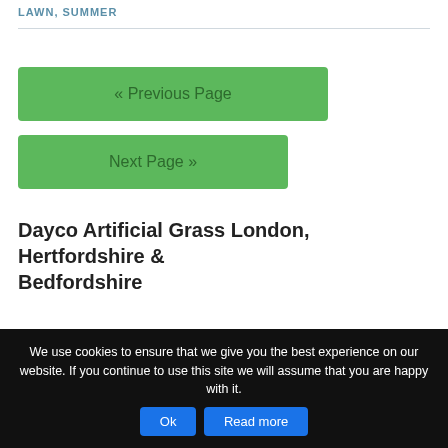LAWN, SUMMER
« Previous Page
Next Page »
Dayco Artificial Grass London, Hertfordshire & Bedfordshire
We use cookies to ensure that we give you the best experience on our website. If you continue to use this site we will assume that you are happy with it.
Ok
Read more